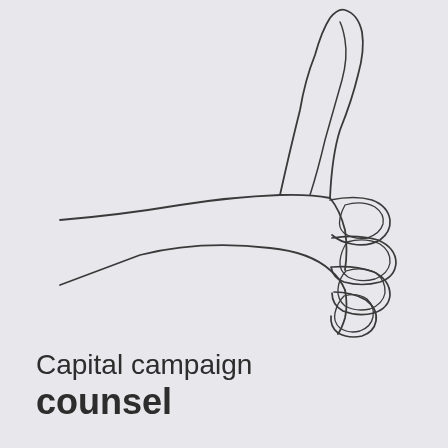[Figure (illustration): Line art illustration of a hand giving a thumbs up gesture, drawn in a single continuous line style against a light gray background.]
Capital campaign
counsel